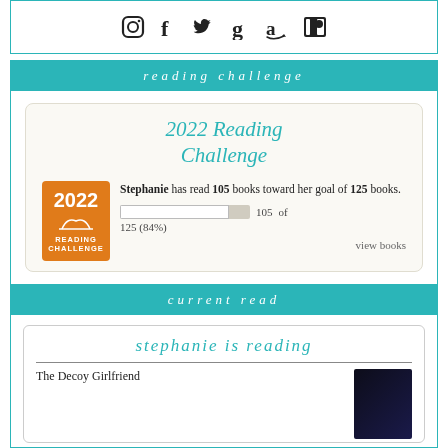[Figure (infographic): Social media icons row: Instagram, Facebook, Twitter, Goodreads, Amazon, Patreon]
reading challenge
[Figure (infographic): 2022 Reading Challenge card showing Stephanie has read 105 books toward her goal of 125 books. Progress bar shows 84%. 'view books' link at bottom.]
current read
stephanie is reading
The Decoy Girlfriend